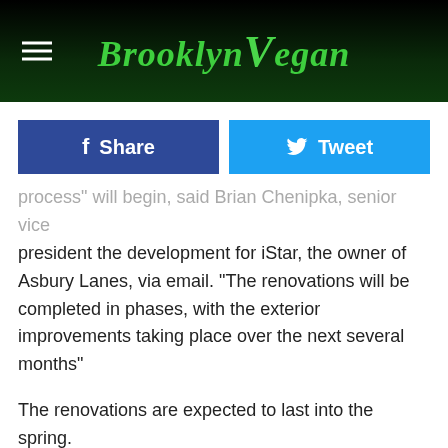BrooklynVegan
Share
Tweet
process" will begin, said Brian Chenipka, senior vice president the development for iStar, the owner of Asbury Lanes, via email. "The renovations will be completed in phases, with the exterior improvements taking place over the next several months"
The renovations are expected to last into the spring. iStar will share their initial plans with the city in the coming weeks and those plans include keeping live music at the venue.